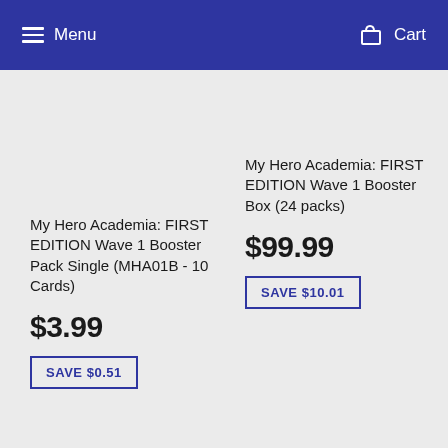Menu   Cart
My Hero Academia: FIRST EDITION Wave 1 Booster Pack Single (MHA01B - 10 Cards)
$3.99
SAVE $0.51
My Hero Academia: FIRST EDITION Wave 1 Booster Box (24 packs)
$99.99
SAVE $10.01